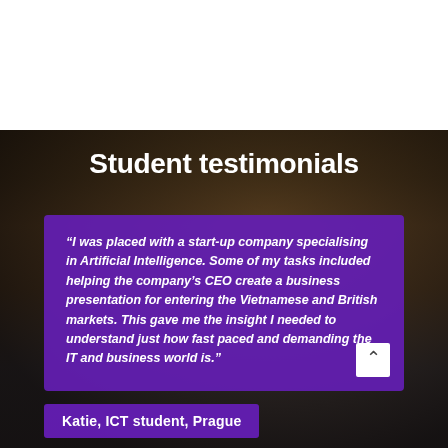Student testimonials
“I was placed with a start-up company specialising in Artificial Intelligence. Some of my tasks included helping the company’s CEO create a business presentation for entering the Vietnamese and British markets. This gave me the insight I needed to understand just how fast paced and demanding the IT and business world is.”
Katie, ICT student, Prague